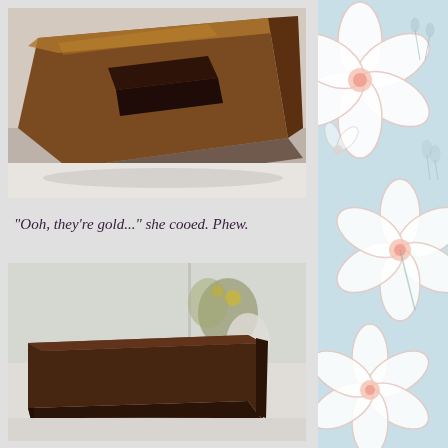[Figure (photo): Close-up of a chocolate-coated cookie or pastry piece with a dark chocolate filling, dusted with golden-brown cocoa powder, on a white surface.]
"Ooh, they're gold..." she cooed. Phew.
[Figure (photo): A rectangular block of chocolate truffle or fudge, coated in dark cocoa powder, sitting on a white surface with a blurred green plant in the background.]